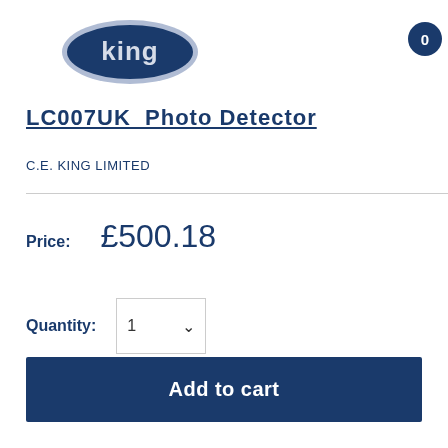[Figure (logo): King logo — white text 'king' on dark blue oval/ellipse shape with a light border]
[Figure (other): Shopping cart badge — dark blue circle with white number 0]
LC007UK Photo Detector
C.E. KING LIMITED
Price: £500.18
Quantity: 1
Add to cart